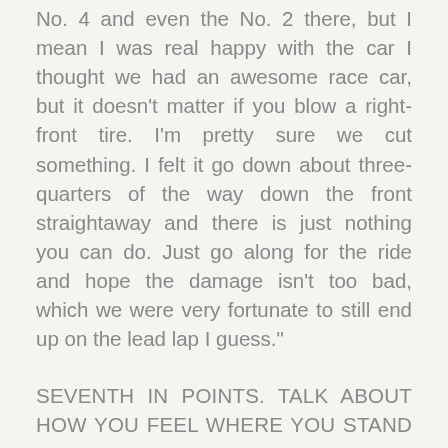No. 4 and even the No. 2 there, but I mean I was real happy with the car I thought we had an awesome race car, but it doesn't matter if you blow a right-front tire. I'm pretty sure we cut something. I felt it go down about three-quarters of the way down the front straightaway and there is just nothing you can do. Just go along for the ride and hope the damage isn't too bad, which we were very fortunate to still end up on the lead lap I guess."
SEVENTH IN POINTS. TALK ABOUT HOW YOU FEEL WHERE YOU STAND GOING TO DOVER.
"Well the problem is you just can't have things like that happen. We have a strong enough team. We went from being very comfortable